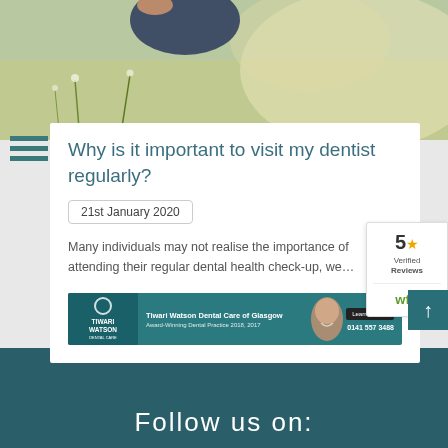[Figure (photo): Person lying in a field of wildflowers, soft bokeh background]
Why is it important to visit my dentist regularly?
21st January 2020
Many individuals may not realise the importance of attending their regular dental health check-up, we…
[Figure (other): Tiwari Watson Dental Care of Glasgow advertisement banner. Award-Winning Dental Practice 2018, 2017. Learn More > 0141 557 3488]
Follow us on: